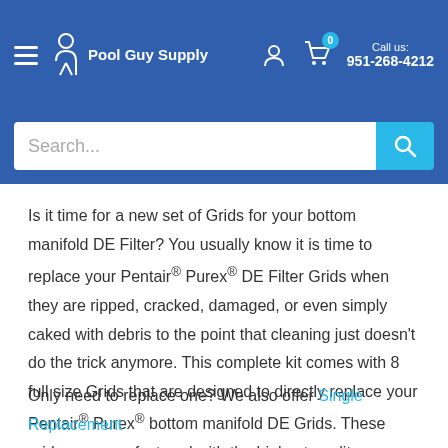Pool Guy Supply | Call us: 951-268-4212
Is it time for a new set of Grids for your bottom manifold DE Filter? You usually know it is time to replace your Pentair® Purex® DE Filter Grids when they are ripped, cracked, damaged, or even simply caked with debris to the point that cleaning just doesn't do the trick anymore. This complete kit comes with 8 full size Grids that are designed to directly replace your Pentair® Purex® bottom manifold DE Grids. These grids are manufactured with the highest quality materials for easy cleaning and long life.
Only need to replace one? We also offer Single Replacement